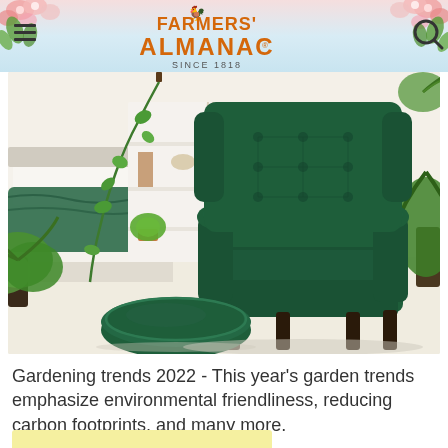FARMERS' ALMANAC SINCE 1818
[Figure (photo): Interior room scene featuring a large dark green velvet wingback armchair with tufted back, a matching green velvet round ottoman in the foreground, houseplants including hanging vines and potted plants, a white bookshelf with books and decorative items, and a bed with white linens and a green throw blanket on the left side.]
Gardening trends 2022 - This year's garden trends emphasize environmental friendliness, reducing carbon footprints, and many more.